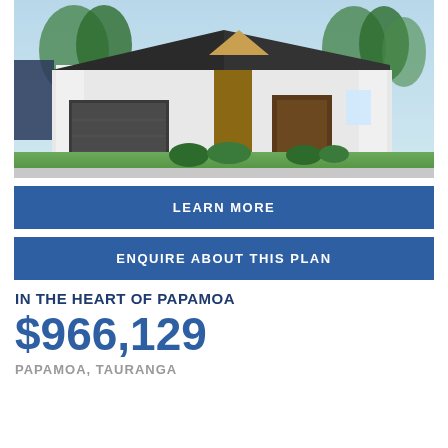[Figure (photo): Exterior rendering of a modern single-storey house with dark roof, white brick cladding, wooden accent panel, double garage, and landscaped front lawn with green hedges and trees in background.]
LEARN MORE
ENQUIRE ABOUT THIS PLAN
IN THE HEART OF PAPAMOA
$966,129
PAPAMOA, TAURANGA